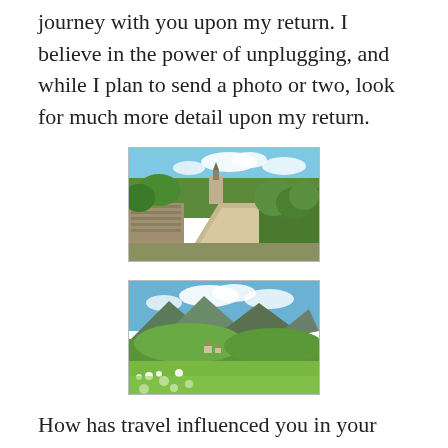journey with you upon my return. I believe in the power of unplugging, and while I plan to send a photo or two, look for much more detail upon my return.
[Figure (photo): A stone-walled village path leading toward a church tower, surrounded by lush green trees and shrubs under a blue sky with white clouds.]
[Figure (photo): A panoramic mountain valley view with green hills, wildflowers in the foreground, a small village below, and mountains under a blue sky with white clouds.]
How has travel influenced you in your life, and what places have you found healing? Travelers' tales, I feel, are the next best thing to actually going on an adventure! Come tell me about them on my Facebook page.